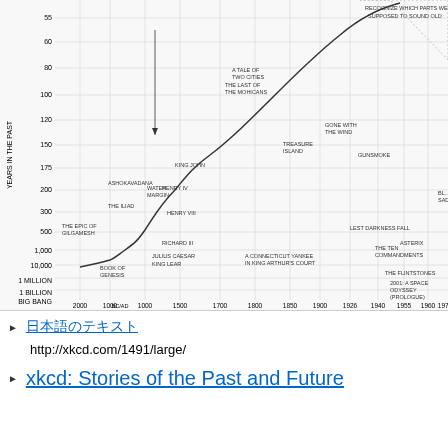[Figure (other): XKCD chart showing 'Years in the Past' vs publication date for various books/shows. X-axis shows years from 2000 BC to 1970, Y-axis shows years in the past on a logarithmic scale from about 55 to 1 billion. A curve shows titles like The Epic of Gilgamesh, The Iliad, Book of Genesis, Julius Caesar, King Lear, Henry VIII, Richard III, Water Margin, Henry IV, King John, A Tale of Two Cities, The Last of the Mohicans, Treasure Island, Gone with the Wind, Gunsmoke, Lest Darkness Fall, A Connecticut Yankee in King Arthur's Court, The Ten Commandments, Asterix, The Flintstones, 2001: A Space Odyssey (Prologue), and a note about recognizing which parts were supposed to sound old.]
日本語のテキスト (Japanese text link)
http://xkcd.com/1491/large/
xkcd: Stories of the Past and Future